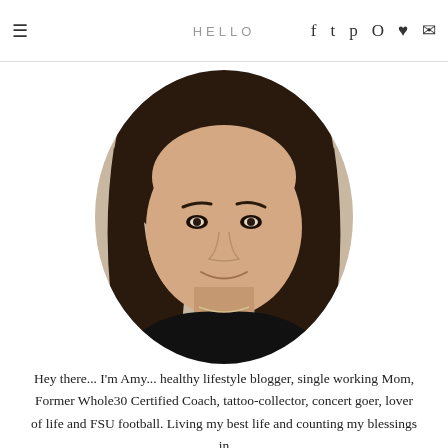HELLO
[Figure (photo): Oval portrait photo of a woman with long dark brown hair, wearing a black top and a silver necklace, smiling. Background appears to be a store or craft area.]
Hey there... I'm Amy... healthy lifestyle blogger, single working Mom, Former Whole30 Certified Coach, tattoo-collector, concert goer, lover of life and FSU football. Living my best life and counting my blessings in